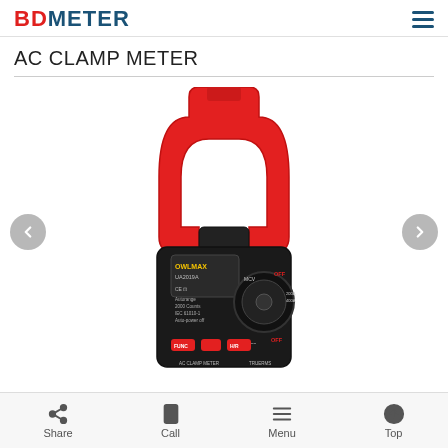BDMETER
AC CLAMP METER
[Figure (photo): AC Clamp Meter product photo showing a black and red clamp multimeter (OWLMAX UA2019A) with a large red C-shaped clamp jaw on top, black body with rotary selector dial, display, and three red buttons labeled FUNC, and H/R on the front panel. Left and right navigation arrows are visible on the sides.]
Share   Call   Menu   Top